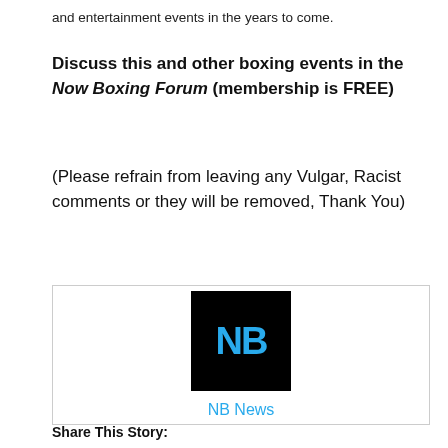and entertainment events in the years to come.
Discuss this and other boxing events in the Now Boxing Forum (membership is FREE)
(Please refrain from leaving any Vulgar, Racist comments or they will be removed, Thank You)
[Figure (logo): NB News logo: black square with blue 'NB' text, with 'NB News' label below]
Share This Story: